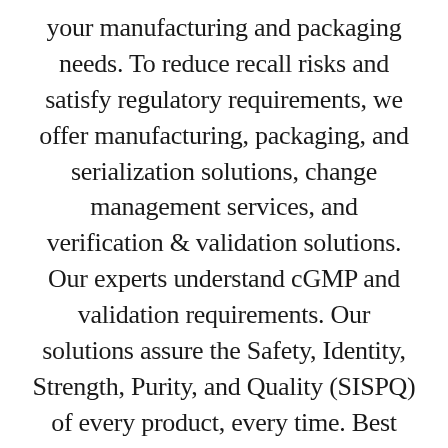your manufacturing and packaging needs. To reduce recall risks and satisfy regulatory requirements, we offer manufacturing, packaging, and serialization solutions, change management services, and verification & validation solutions. Our experts understand cGMP and validation requirements. Our solutions assure the Safety, Identity, Strength, Purity, and Quality (SISPQ) of every product, every time. Best practices either meet or exceed the latest standards and regulations of the FDA and the most updated ISPE Guidelines.